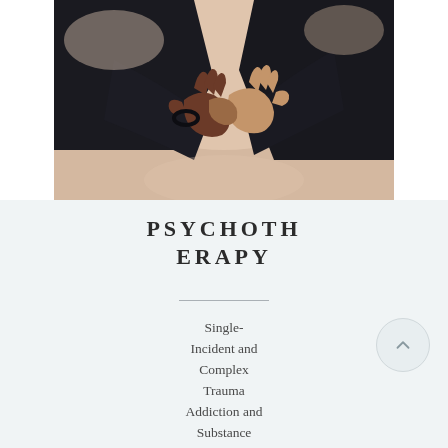[Figure (photo): Close-up photo of two people shaking hands, both wearing dark/black clothing, against a soft peach/beige background]
PSYCHOTHERAPY
Single-Incident and Complex Trauma
Addiction and Substance Use
Chronic Pain
Anxiety and Depression
TBI and TBD